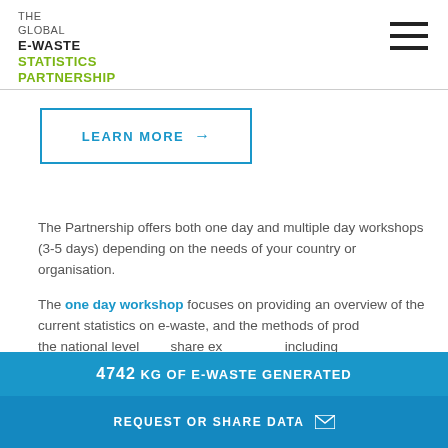THE GLOBAL E-WASTE STATISTICS PARTNERSHIP
[Figure (other): LEARN MORE button with right arrow, outlined in blue]
The Partnership offers both one day and multiple day workshops (3-5 days) depending on the needs of your country or organisation.
The one day workshop focuses on providing an overview of the current statistics on e-waste, and the methods of prod... the national level... share ex... including...
4742 KG OF E-WASTE GENERATED
REQUEST OR SHARE DATA